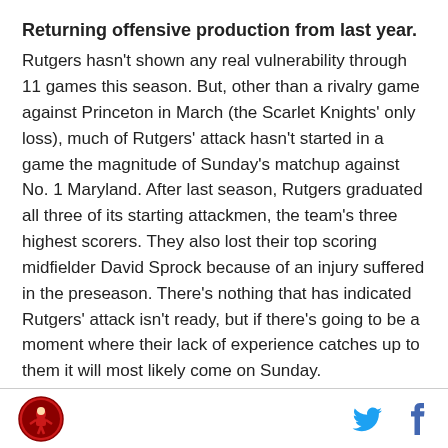Returning offensive production from last year.
Rutgers hasn't shown any real vulnerability through 11 games this season. But, other than a rivalry game against Princeton in March (the Scarlet Knights' only loss), much of Rutgers' attack hasn't started in a game the magnitude of Sunday's matchup against No. 1 Maryland. After last season, Rutgers graduated all three of its starting attackmen, the team's three highest scorers. They also lost their top scoring midfielder David Sprock because of an injury suffered in the preseason. There's nothing that has indicated Rutgers' attack isn't ready, but if there's going to be a moment where their lack of experience catches up to them it will most likely come on Sunday.
[logo] [twitter] [facebook]